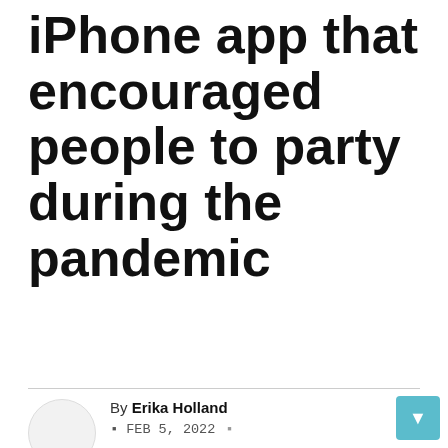iPhone app that encouraged people to party during the pandemic
By Erika Holland
FEB 5, 2022  buy app installs google play, ios app store ranking, mobile growth aso